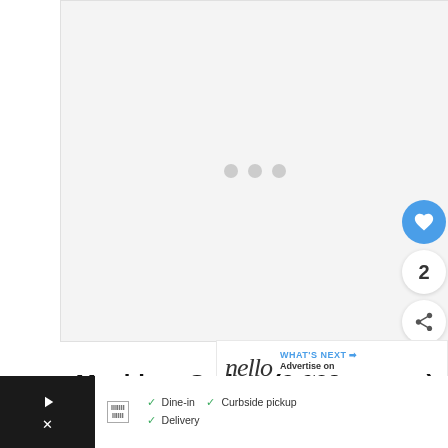[Figure (screenshot): Loading image placeholder with three grey dots in the center on a light grey background]
[Figure (screenshot): Heart/like button (blue circle with white heart icon), count badge showing 2, and share button (white circle with share icon)]
[Figure (screenshot): What's Next promotional bar with cursive logo and text 'Advertise on Best Things ...']
Musidora Stakes (2,063 metres) – 11th
[Figure (screenshot): Bottom ad bar showing Dine-in, Curbside pickup, Delivery options with navigation icon]